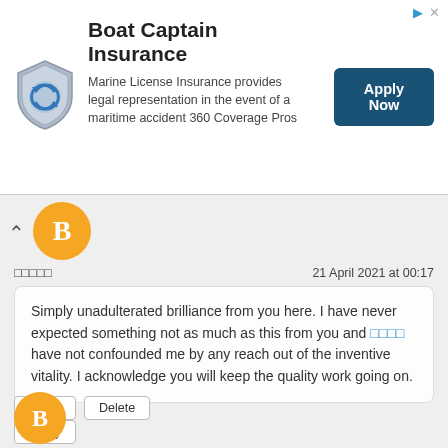[Figure (logo): Boat Captain Insurance ad banner with shield logo, Apply Now button]
Boat Captain Insurance
Marine License Insurance provides legal representation in the event of a maritime accident 360 Coverage Pros
Apply Now
□□□□□  21 April 2021 at 00:17
Simply unadulterated brilliance from you here. I have never expected something not as much as this from you and □□□□ have not confounded me by any reach out of the inventive vitality. I acknowledge you will keep the quality work going on.
Reply  Delete
Reply